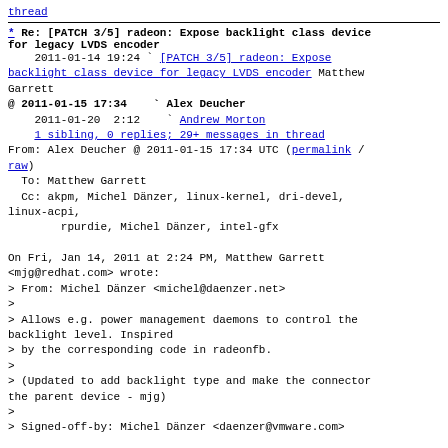[PATCH 3/5] radeon: Expose backlight class device for legacy LVDS encoder thread (link at top)
* Re: [PATCH 3/5] radeon: Expose backlight class device for legacy LVDS encoder
2011-01-14 19:24 ` [PATCH 3/5] radeon: Expose backlight class device for legacy LVDS encoder Matthew Garrett
@ 2011-01-15 17:34 ` Alex Deucher
2011-01-20  2:12 ` Andrew Morton
1 sibling, 0 replies; 29+ messages in thread
From: Alex Deucher @ 2011-01-15 17:34 UTC (permalink / raw)
To: Matthew Garrett
Cc: akpm, Michel Dänzer, linux-kernel, dri-devel, linux-acpi,
        rpurdie, Michel Dänzer, intel-gfx
On Fri, Jan 14, 2011 at 2:24 PM, Matthew Garrett
<mjg@redhat.com> wrote:
> From: Michel Dänzer <michel@daenzer.net>
>
> Allows e.g. power management daemons to control the backlight level. Inspired
> by the corresponding code in radeonfb.
>
> (Updated to add backlight type and make the connector the parent device - mjg)
>
> Signed-off-by: Michel Dänzer <daenzer@vmware.com>